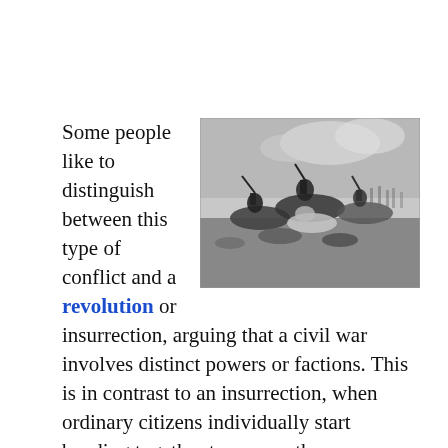Some people like to distinguish between this type of conflict and a revolution or insurrection, arguing that a civil war involves distinct powers or factions. This is in contrast to an insurrection, when ordinary citizens individually start banding together to oppose the government, usually because they perceive it as unjust. A large-scale insurrection may turn into a revolution, with a violent overthrow of a prevailing government in the
[Figure (photo): Black and white historical painting/engraving depicting a chaotic cavalry battle scene with horses and soldiers fighting]